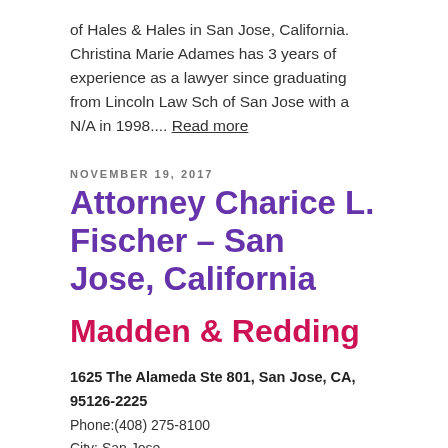of Hales & Hales in San Jose, California. Christina Marie Adames has 3 years of experience as a lawyer since graduating from Lincoln Law Sch of San Jose with a N/A in 1998.... Read more
NOVEMBER 19, 2017
Attorney Charice L. Fischer – San Jose, California
Madden & Redding
1625 The Alameda Ste 801, San Jose, CA, 95126-2225
Phone:(408) 275-8100
City: San Jose,
State: California
Zip:95126-2225